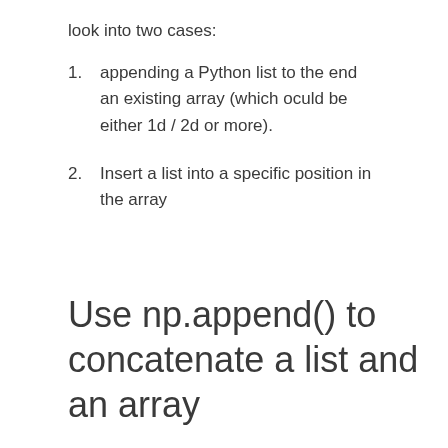look into two cases:
appending a Python list to the end an existing array (which oculd be either 1d / 2d or more).
Insert a list into a specific position in the array
Use np.append() to concatenate a list and an array